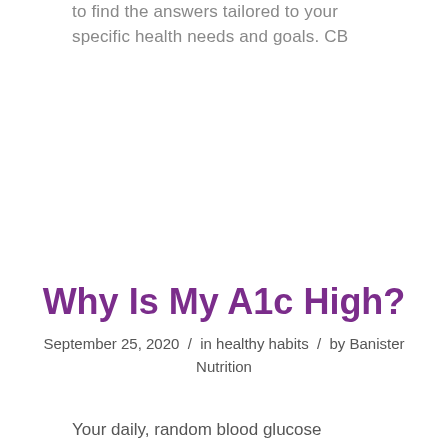to find the answers tailored to your specific health needs and goals. CB
Why Is My A1c High?
September 25, 2020 / in healthy habits / by Banister Nutrition
Your daily, random blood glucose readings are